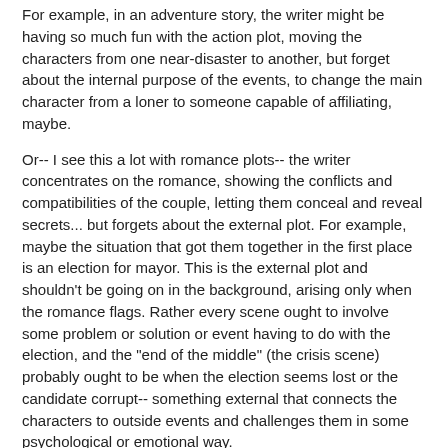For example, in an adventure story, the writer might be having so much fun with the action plot, moving the characters from one near-disaster to another, but forget about the internal purpose of the events, to change the main character from a loner to someone capable of affiliating, maybe.
Or-- I see this a lot with romance plots-- the writer concentrates on the romance, showing the conflicts and compatibilities of the couple, letting them conceal and reveal secrets... but forgets about the external plot. For example, maybe the situation that got them together in the first place is an election for mayor. This is the external plot and shouldn't be going on in the background, arising only when the romance flags. Rather every scene ought to involve some problem or solution or event having to do with the election, and the "end of the middle" (the crisis scene) probably ought to be when the election seems lost or the candidate corrupt-- something external that connects the characters to outside events and challenges them in some psychological or emotional way.
A so-- if you're in the middle of a story, ask how...